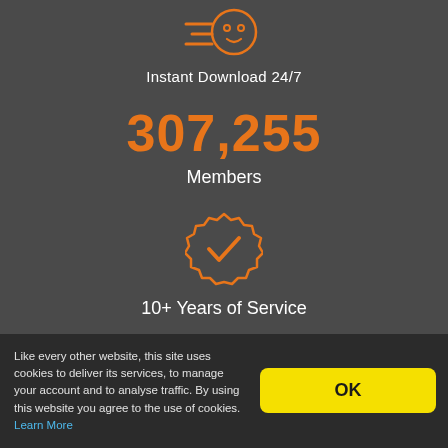[Figure (illustration): Orange speed/download icon with motion lines, partially visible at top]
Instant Download 24/7
307,255
Members
[Figure (illustration): Orange badge/seal icon with a checkmark inside]
10+ Years of Service
Like every other website, this site uses cookies to deliver its services, to manage your account and to analyse traffic. By using this website you agree to the use of cookies. Learn More
OK